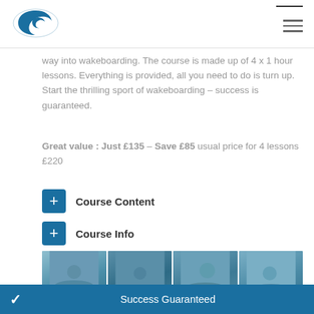[Figure (logo): Blue swirl/wave logo icon]
way into wakeboarding. The course is made up of 4 x 1 hour lessons. Everything is provided, all you need to do is turn up. Start the thrilling sport of wakeboarding – success is guaranteed.
Great value : Just £135 – Save £85 usual price for 4 lessons £220
+ Course Content
+ Course Info
[Figure (photo): Four photos of people wakeboarding on water]
✓ Success Guaranteed